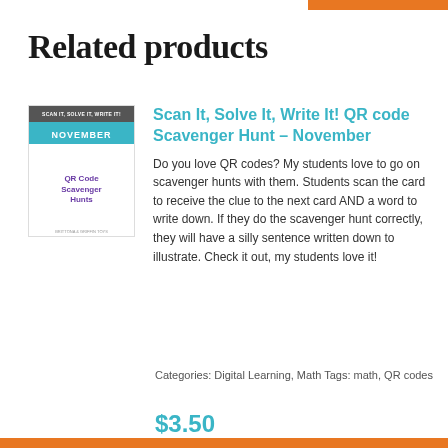Related products
[Figure (illustration): Book cover illustration for 'Scan It, Solve It, Write It! November QR Code Scavenger Hunts']
Scan It, Solve It, Write It! QR code Scavenger Hunt – November
Do you love QR codes? My students love to go on scavenger hunts with them. Students scan the card to receive the clue to the next card AND a word to write down. If they do the scavenger hunt correctly, they will have a silly sentence written down to illustrate. Check it out, my students love it!
Categories: Digital Learning, Math Tags: math, QR codes
$3.50